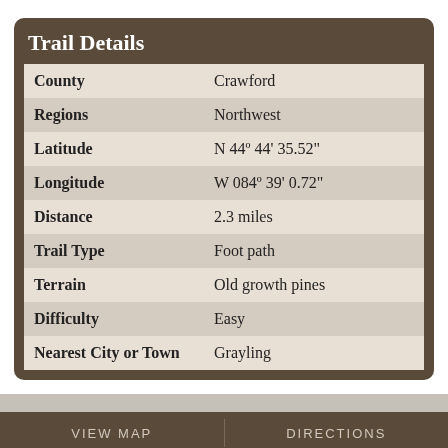Trail Details
| Field | Value |
| --- | --- |
| County | Crawford |
| Regions | Northwest |
| Latitude | N 44º 44' 35.52" |
| Longitude | W 084º 39' 0.72" |
| Distance | 2.3 miles |
| Trail Type | Foot path |
| Terrain | Old growth pines |
| Difficulty | Easy |
| Nearest City or Town | Grayling |
VIEW MAP
DIRECTIONS
Enews Signup
Find a Trail